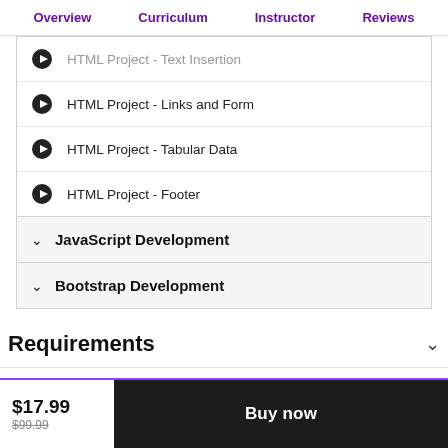Overview  Curriculum  Instructor  Reviews
HTML Project - Text Insertion
HTML Project - Links and Form
HTML Project - Tabular Data
HTML Project - Footer
JavaScript Development
Bootstrap Development
Requirements
$17.99  $99.99  Buy now